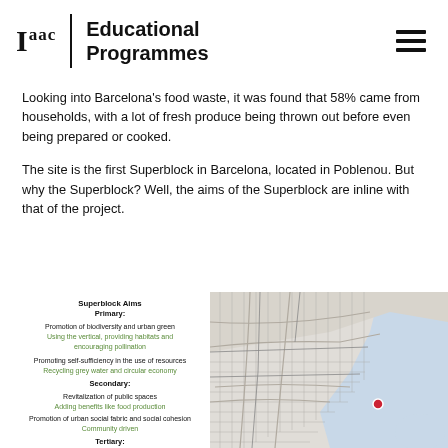Iaac | Educational Programmes
Looking into Barcelona’s food waste, it was found that 58% came from households, with a lot of fresh produce being thrown out before even being prepared or cooked.
The site is the first Superblock in Barcelona, located in Poblenou. But why the Superblock? Well, the aims of the Superblock are inline with that of the project.
Superblock Aims
Primary:
Promotion of biodiversity and urban green
Using the vertical, providing habitats and encouraging pollination
Promoting self-sufficiency in the use of resources
Recycling grey water and circular economy
Secondary:
Revitalization of public spaces
Adding benefits like food production
Promotion of urban social fabric and social cohesion
Community driven
Tertiary:
[Figure (map): Map of Barcelona showing the Mediterranean coast, city grid, and a red marker indicating the Superblock location in Poblenou.]